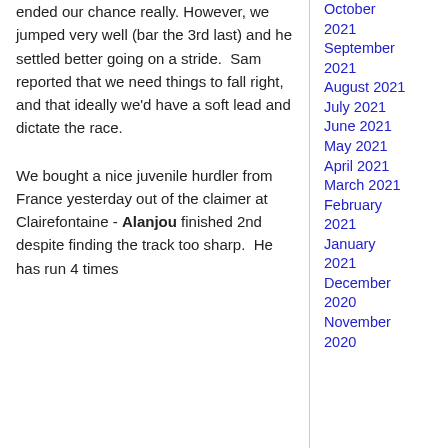ended our chance really. However, we jumped very well (bar the 3rd last) and he settled better going on a stride.  Sam reported that we need things to fall right, and that ideally we'd have a soft lead and dictate the race.
We bought a nice juvenile hurdler from France yesterday out of the claimer at Clairefontaine - Alanjou finished 2nd despite finding the track too sharp.  He has run 4 times
October 2021
September 2021
August 2021
July 2021
June 2021
May 2021
April 2021
March 2021
February 2021
January 2021
December 2020
November 2020